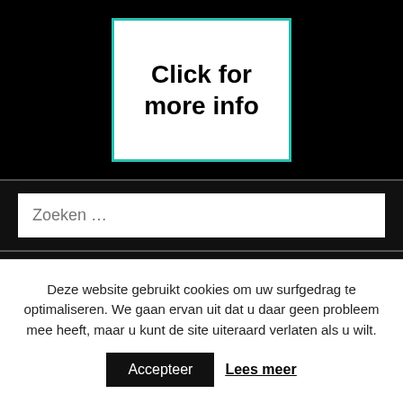[Figure (other): White box with teal border containing text 'Click for more info' in bold black, on black background]
Zoeken …
SMDome Nieuwsbrief
Uw e-mail adres (vereist)
Deze website gebruikt cookies om uw surfgedrag te optimaliseren. We gaan ervan uit dat u daar geen probleem mee heeft, maar u kunt de site uiteraard verlaten als u wilt.
Accepteer
Lees meer